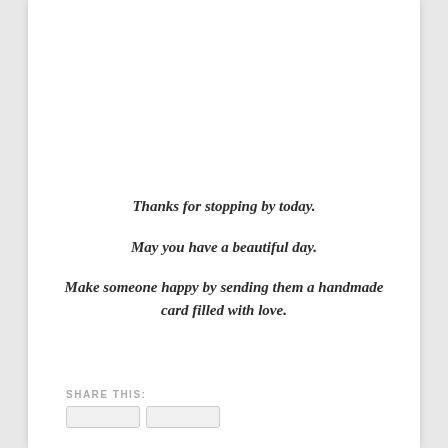Thanks for stopping by today.

May you have a beautiful day.

Make someone happy by sending them a handmade card filled with love.
SHARE THIS: